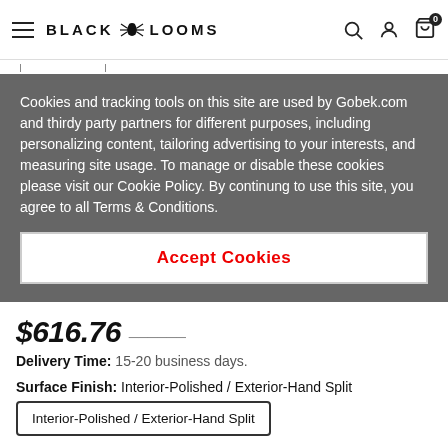BLACK LOOMS — navigation bar with hamburger menu, logo, search, account, cart icons
Cookies and tracking tools on this site are used by Gobek.com and thirdy party partners for different purposes, including personalizing content, tailoring advertising to your interests, and measuring site usage. To manage or disable these cookies please visit our Cookie Policy. By continung to use this site, you agree to all Terms & Conditions.
Accept Cookies
$616.76
Delivery Time: 15-20 business days.
Surface Finish: Interior-Polished / Exterior-Hand Split
Interior-Polished / Exterior-Hand Split
Size: (W)13" (L)16" (H)5.5"
(W)13" (L)16" (H)5.5"